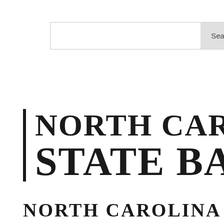[Figure (logo): Search bar with input field and Search button]
[Figure (logo): North Carolina State Bar logo — large bold serif text 'NORTH CARO' on first line and 'STATE BA' on second line with vertical bar on left side]
NORTH CAROLINA